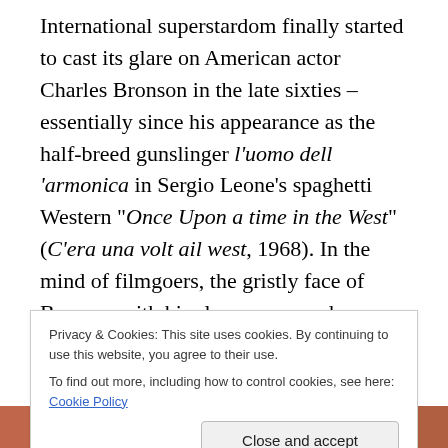International superstardom finally started to cast its glare on American actor Charles Bronson in the late sixties – essentially since his appearance as the half-breed gunslinger l'uomo dell 'armonica in Sergio Leone's spaghetti Western "Once Upon a time in the West" (C'era una volt ail west, 1968). In the mind of filmgoers, the gristly face of Bronson with his sleepy eyes and drooping moustache had become distinguished as an image of a 'tender tough guy' with an explosive air of elemental violence about him, drawing audiences to his movies shown across Europe over to Asia. The Italians nick-
Privacy & Cookies: This site uses cookies. By continuing to use this website, you agree to their use.
To find out more, including how to control cookies, see here: Cookie Policy
[Figure (photo): A strip of photos at the bottom of the page showing faces or portraits]